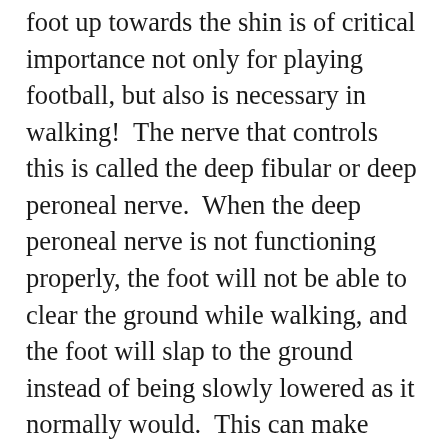foot up towards the shin is of critical importance not only for playing football, but also is necessary in walking!  The nerve that controls this is called the deep fibular or deep peroneal nerve.  When the deep peroneal nerve is not functioning properly, the foot will not be able to clear the ground while walking, and the foot will slap to the ground instead of being slowly lowered as it normally would.  This can make walking a very difficult and tedious process.  Mat may have caused this injury by a sudden stretch of the nerve when planting his foot to punt the ball.  Other causes of this nerve injury can include frequently crossing the legs, which is the most common cause, knee dislocation, or knee surgery.